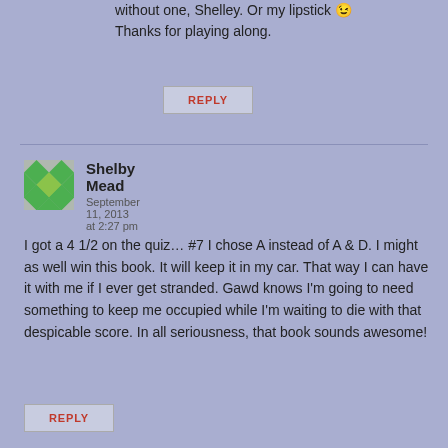without one, Shelley. Or my lipstick 😉 Thanks for playing along.
REPLY
Shelby Mead
September 11, 2013 at 2:27 pm
I got a 4 1/2 on the quiz… #7 I chose A instead of A & D. I might as well win this book. It will keep it in my car. That way I can have it with me if I ever get stranded. Gawd knows I'm going to need something to keep me occupied while I'm waiting to die with that despicable score. In all seriousness, that book sounds awesome!
REPLY